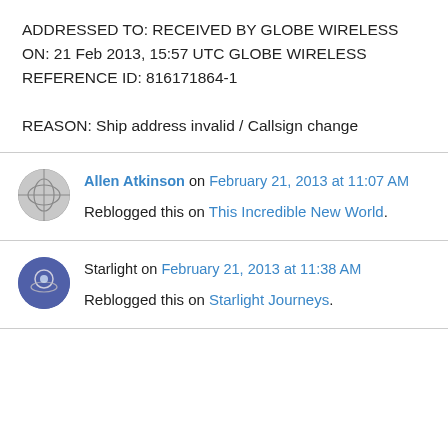ADDRESSED TO: RECEIVED BY GLOBE WIRELESS ON: 21 Feb 2013, 15:57 UTC GLOBE WIRELESS REFERENCE ID: 816171864-1

REASON: Ship address invalid / Callsign change
Allen Atkinson on February 21, 2013 at 11:07 AM
Reblogged this on This Incredible New World.
Starlight on February 21, 2013 at 11:38 AM
Reblogged this on Starlight Journeys.